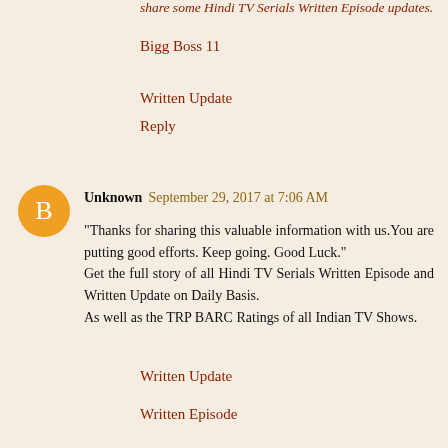share some Hindi TV Serials Written Episode updates.
Bigg Boss 11
Written Update
Reply
Unknown  September 29, 2017 at 7:06 AM
"Thanks for sharing this valuable information with us.You are putting good efforts. Keep going. Good Luck." Get the full story of all Hindi TV Serials Written Episode and Written Update on Daily Basis. As well as the TRP BARC Ratings of all Indian TV Shows.
Written Update
Written Episode